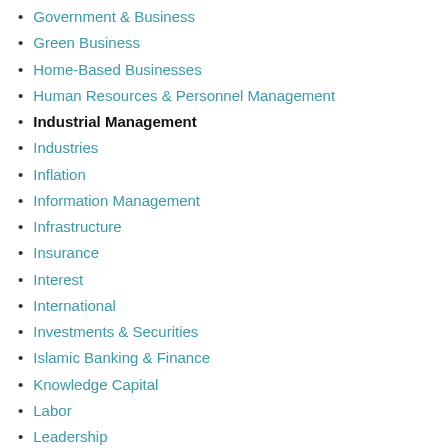Government & Business
Green Business
Home-Based Businesses
Human Resources & Personnel Management
Industrial Management
Industries
Inflation
Information Management
Infrastructure
Insurance
Interest
International
Investments & Securities
Islamic Banking & Finance
Knowledge Capital
Labor
Leadership
Logistics & Supply Chain
Mail Order
Management
Management Science